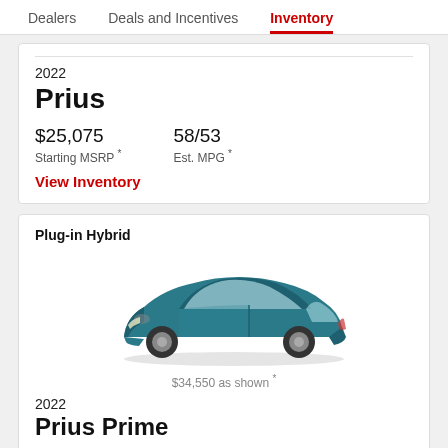Dealers   Deals and Incentives   Inventory
2022
Prius
$25,075
Starting MSRP *
58/53
Est. MPG *
View Inventory
Plug-in Hybrid
[Figure (photo): 2022 Toyota Prius Prime teal/blue plug-in hybrid sedan, side-front view]
$34,550 as shown *
2022
Prius Prime